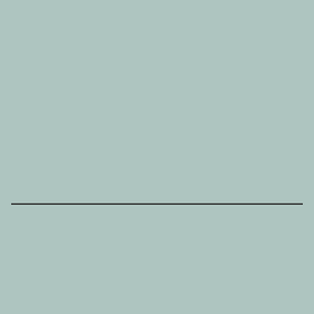[Figure (photo): Large teal/sage green background area occupying the top portion of the page]
[Figure (photo): Group photo of four people (two men and two women) at what appears to be a social gathering or event, with green plants visible in the background]
With Noel O'Regan, Sally